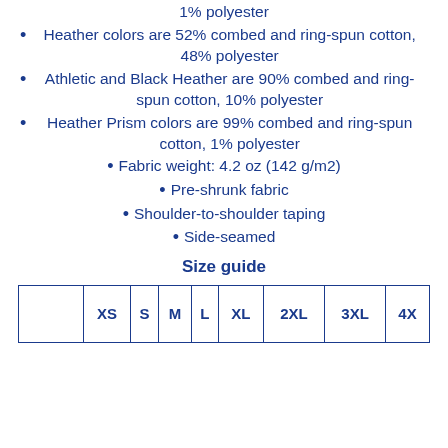1% polyester
Heather colors are 52% combed and ring-spun cotton, 48% polyester
Athletic and Black Heather are 90% combed and ring-spun cotton, 10% polyester
Heather Prism colors are 99% combed and ring-spun cotton, 1% polyester
Fabric weight: 4.2 oz (142 g/m2)
Pre-shrunk fabric
Shoulder-to-shoulder taping
Side-seamed
Size guide
|  | XS | S | M | L | XL | 2XL | 3XL | 4X |
| --- | --- | --- | --- | --- | --- | --- | --- | --- |